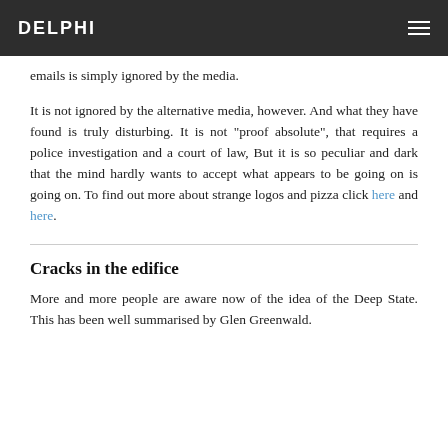DELPHI
emails is simply ignored by the media.
It is not ignored by the alternative media, however. And what they have found is truly disturbing. It is not "proof absolute", that requires a police investigation and a court of law, But it is so peculiar and dark that the mind hardly wants to accept what appears to be going on is going on. To find out more about strange logos and pizza click here and here.
Cracks in the edifice
More and more people are aware now of the idea of the Deep State. This has been well summarised by Glen Greenwald.